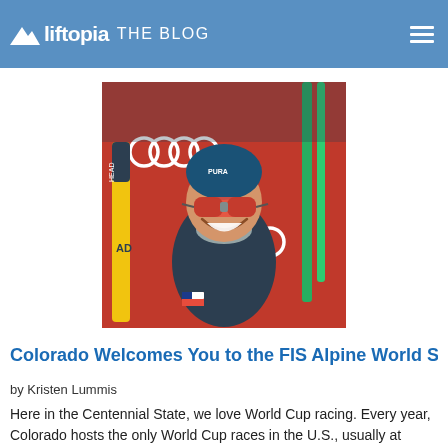liftopia THE BLOG
autographs. But at the Vail Beaver Creek 2015 FIS Championships in Colorado, they we... (seemingly at first) just two...
[Figure (photo): Smiling alpine ski racer wearing red sunglasses and a blue helmet, posing at a race finish area with Audi sponsor logos and ski equipment in background]
Colorado Welcomes You to the FIS Alpine World Ski Ch…
by Kristen Lummis
Here in the Centennial State, we love World Cup racing. Every year, Colorado hosts the only World Cup races in the U.S., usually at Aspen for the women, and Beaver